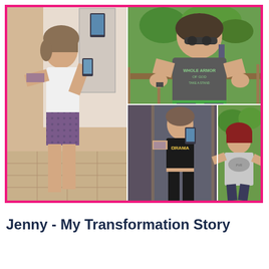[Figure (photo): Photo collage showing a woman's weight loss transformation. Left: after photo of slim woman in white top and patterned shorts taking mirror selfie showing tattoos on arm. Top right: before photo of overweight woman in grey 'Whole Armor of God' t-shirt outdoors. Bottom middle: after photo of slim woman in black crop top taking mirror selfie. Bottom right: before photo of overweight woman with red hair in grey t-shirt outdoors.]
Jenny - My Transformation Story